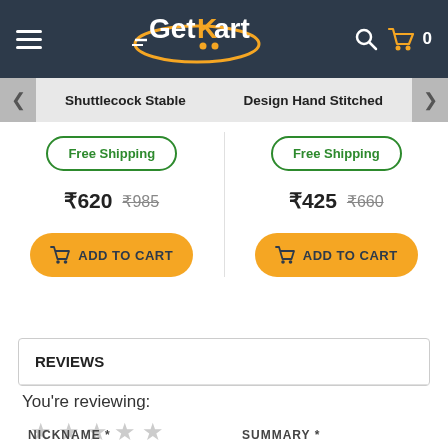GetKart
Shuttlecock Stable
Design Hand Stitched
Free Shipping
Free Shipping
₹620 ₹985
₹425 ₹660
ADD TO CART
ADD TO CART
REVIEWS
You're reviewing:
★ ★ ★ ★ ★
NICKNAME *
SUMMARY *